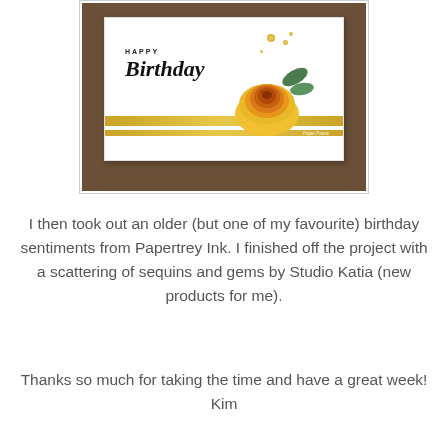[Figure (photo): A handmade Happy Birthday card featuring a large yellow/orange ranunculus flower with green leaves, gold foil stripes, and a 'Happy Birthday' sentiment in script, placed on a dark wood background. Watermark reads 'Paper Pause by Kim Hamilton, www.paperpause.com'.]
I then took out an older (but one of my favourite) birthday sentiments from Papertrey Ink. I finished off the project with a scattering of sequins and gems by Studio Katia (new products for me).
Thanks so much for taking the time and have a great week!
Kim